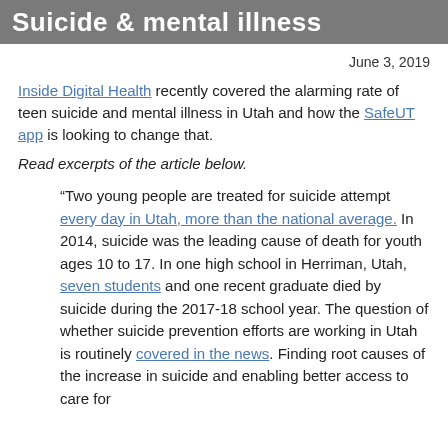Suicide & mental illness
June 3, 2019
Inside Digital Health recently covered the alarming rate of teen suicide and mental illness in Utah and how the SafeUT app is looking to change that.
Read excerpts of the article below.
“Two young people are treated for suicide attempt every day in Utah, more than the national average. In 2014, suicide was the leading cause of death for youth ages 10 to 17. In one high school in Herriman, Utah, seven students and one recent graduate died by suicide during the 2017-18 school year. The question of whether suicide prevention efforts are working in Utah is routinely covered in the news. Finding root causes of the increase in suicide and enabling better access to care for